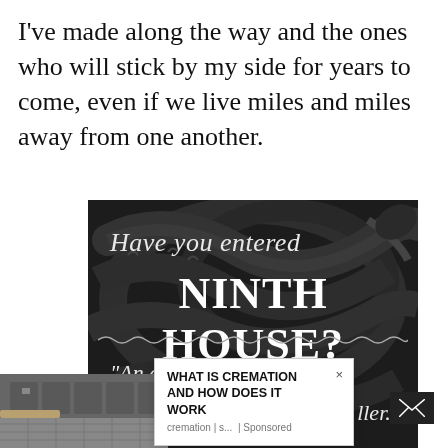I've made along the way and the ones who will stick by my side for years to come, even if we live miles and miles away from one another.
[Figure (illustration): Dark book advertisement image with snake imagery. Text reads: 'Have you entered NINTH HOUSE?' followed by a wavy decorative line, then '"An engrossing,' and partially visible '...ller."']
[Figure (photo): Bottom-left corner showing a subway/metro station interior with benches and tiled floor, in grayscale.]
WHAT IS CREMATION AND HOW DOES IT WORK
cremation | s... | Sponsored